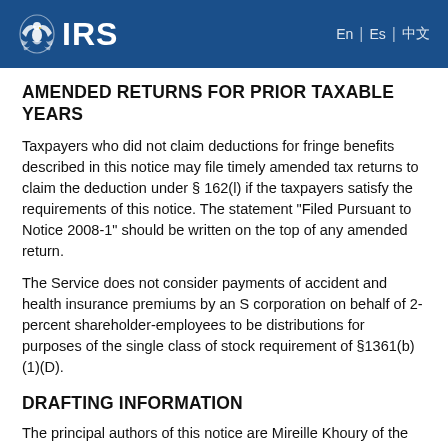IRS | [nav links]
AMENDED RETURNS FOR PRIOR TAXABLE YEARS
Taxpayers who did not claim deductions for fringe benefits described in this notice may file timely amended tax returns to claim the deduction under § 162(l) if the taxpayers satisfy the requirements of this notice. The statement “Filed Pursuant to Notice 2008-1” should be written on the top of any amended return.
The Service does not consider payments of accident and health insurance premiums by an S corporation on behalf of 2-percent shareholder-employees to be distributions for purposes of the single class of stock requirement of §1361(b)(1)(D).
DRAFTING INFORMATION
The principal authors of this notice are Mireille Khoury of the Office of Division Counsel/Associate Chief Counsel (Tax Exempt and Government Entities) and Charles D. Wier of the Office of Associate Chief Counsel